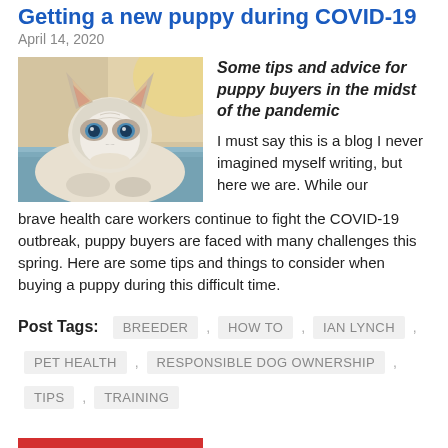Getting a new puppy during COVID-19
April 14, 2020
[Figure (photo): A Siberian Husky puppy with blue eyes lying on a light blue blanket, looking at the camera]
Some tips and advice for puppy buyers in the midst of the pandemic
I must say this is a blog I never imagined myself writing, but here we are. While our brave health care workers continue to fight the COVID-19 outbreak, puppy buyers are faced with many challenges this spring. Here are some tips and things to consider when buying a puppy during this difficult time.
Post Tags: BREEDER , HOW TO , IAN LYNCH , PET HEALTH , RESPONSIBLE DOG OWNERSHIP , TIPS , TRAINING